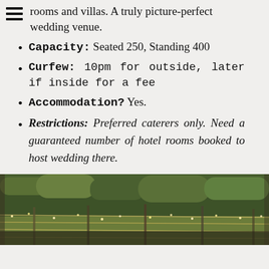rooms and villas. A truly picture-perfect wedding venue.
Capacity: Seated 250, Standing 400
Curfew: 10pm for outside, later if inside for a fee
Accommodation? Yes.
Restrictions: Preferred caterers only. Need a guaranteed number of hotel rooms booked to host wedding there.
[Figure (photo): Outdoor photo showing wire fence with fairy lights against a backdrop of dense green hedging and trees, warm golden-green tones]